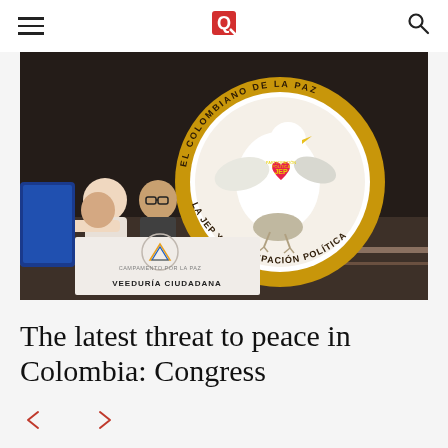Menu | El Colombiano de la Paz logo | Search
[Figure (photo): Photograph of a congressional or event hall scene with people seated behind a large circular logo reading 'La JEP y Participacion Politica' and 'El Colombian de la Paz', featuring a white dove with a heart. A banner in front reads 'VEEDURIA CIUDADANA' and 'CAMPAMENTO POR LA PAZ'.]
The latest threat to peace in Colombia: Congress
[Figure (other): Navigation arrows: left arrow and right arrow in red/salmon color for article carousel navigation]